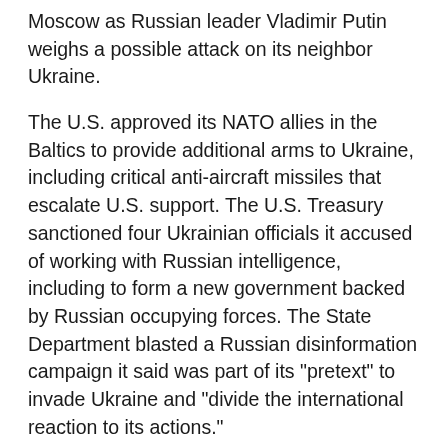Moscow as Russian leader Vladimir Putin weighs a possible attack on its neighbor Ukraine.
The U.S. approved its NATO allies in the Baltics to provide additional arms to Ukraine, including critical anti-aircraft missiles that escalate U.S. support. The U.S. Treasury sanctioned four Ukrainian officials it accused of working with Russian intelligence, including to form a new government backed by Russian occupying forces. The State Department blasted a Russian disinformation campaign it said was part of its "pretext" to invade Ukraine and "divide the international reaction to its actions."
One day before his sit-down with Russian Foreign Minister Sergei Lavrov, Secretary of State Antony Blinken tried to push back on Russia's narrative and make clear just how high the stakes are in the standoff.
"It's bigger than a conflict between two countries. It's bigger than Russia and NATO. It's a crisis with global